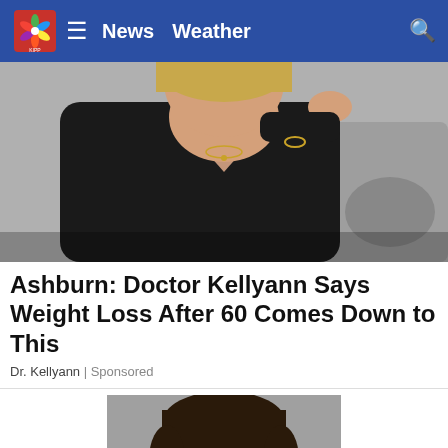News  Weather
[Figure (photo): Woman in black top sitting on a couch, looking to the side, partial torso/face visible]
Ashburn: Doctor Kellyann Says Weight Loss After 60 Comes Down to This
Dr. Kellyann | Sponsored
[Figure (photo): Mugshot of a middle-aged man with dark hair and beard against a grey background]